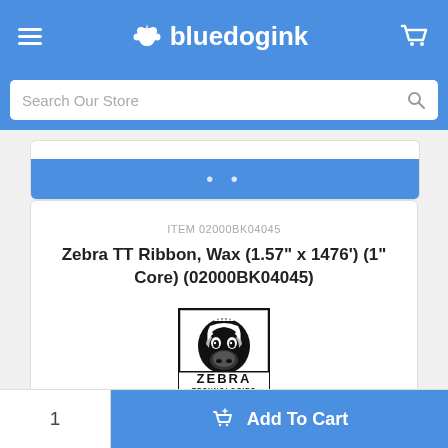bluedogink
Search Our Store
ITEM 02000BK04045
Zebra TT Ribbon, Wax (1.57" x 1476') (1" Core) (02000BK04045)
[Figure (logo): Zebra Technologies logo — black and white zebra head graphic with 'ZEBRA TECHNOLOGIES' text below]
1
Add To Cart